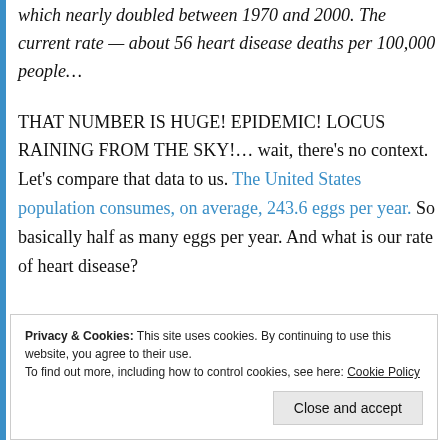which nearly doubled between 1970 and 2000. The current rate — about 56 heart disease deaths per 100,000 people…
THAT NUMBER IS HUGE! EPIDEMIC! LOCUS RAINING FROM THE SKY!… wait, there's no context. Let's compare that data to us. The United States population consumes, on average, 243.6 eggs per year. So basically half as many eggs per year. And what is our rate of heart disease?
Privacy & Cookies: This site uses cookies. By continuing to use this website, you agree to their use. To find out more, including how to control cookies, see here: Cookie Policy